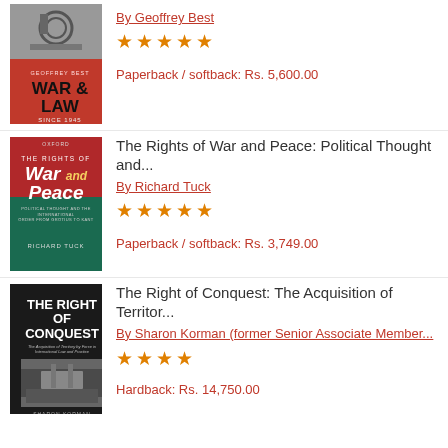[Figure (illustration): Book cover: War & Law Since 1945 by Geoffrey Best. Red cover with black and white photo at top, bold black title text.]
By Geoffrey Best
★★★★★
Paperback / softback: Rs. 5,600.00
[Figure (illustration): Book cover: The Rights of War and Peace: Political Thought and the International Order from Grotius to Kant by Richard Tuck. Red and teal cover.]
The Rights of War and Peace: Political Thought and...
By Richard Tuck
★★★★★
Paperback / softback: Rs. 3,749.00
[Figure (illustration): Book cover: The Right of Conquest: The Acquisition of Territory by Force in International Law and Practice by Sharon Korman. Dark cover with historic image.]
The Right of Conquest: The Acquisition of Territor...
By Sharon Korman (former Senior Associate Member...
★★★★
Hardback: Rs. 14,750.00